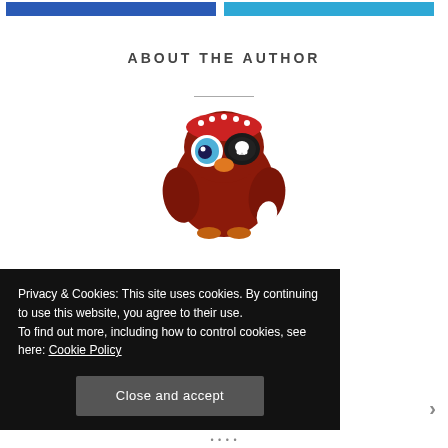[Figure (screenshot): Two horizontal navigation bars at top: one blue and one cyan/teal]
ABOUT THE AUTHOR
[Figure (illustration): Cartoon owl wearing a pirate costume with red bandana, eye patch with skull, and holding something white — depicted as a round reddish-brown owl]
Privacy & Cookies: This site uses cookies. By continuing to use this website, you agree to their use.
To find out more, including how to control cookies, see here: Cookie Policy
Close and accept